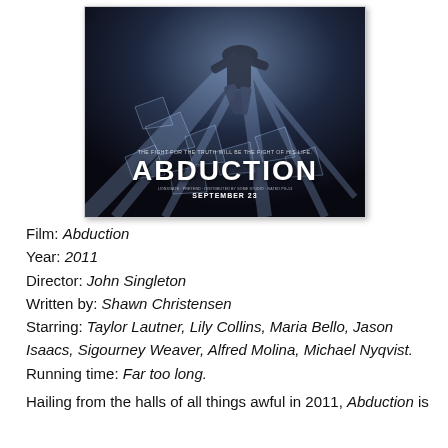[Figure (photo): Movie poster for Abduction (2011). Shows a person jumping/falling through shattering glass on a dark action-themed background. Text reads: 'THE FIGHT FOR THE TRUTH WILL BE THE FIGHT OF HIS LIFE.' Title: ABDUCTION. Date: SEPTEMBER 23.]
Film: Abduction
Year: 2011
Director: John Singleton
Written by: Shawn Christensen
Starring: Taylor Lautner, Lily Collins, Maria Bello, Jason Isaacs, Sigourney Weaver, Alfred Molina, Michael Nyqvist.
Running time: Far too long.
Hailing from the halls of all things awful in 2011, Abduction is